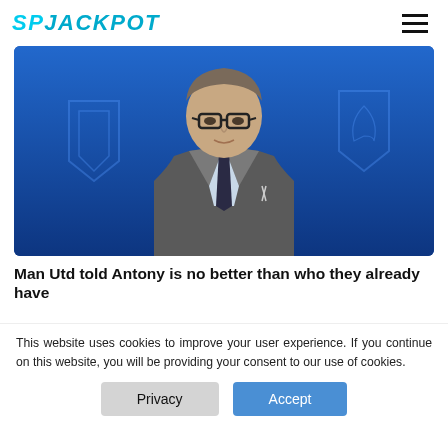SPJACKPOT
[Figure (photo): Man in grey suit and dark tie wearing glasses, seated in front of a blue background with Premier League club crests (Huddersfield, Crystal Palace visible)]
Man Utd told Antony is no better than who they already have
This website uses cookies to improve your user experience. If you continue on this website, you will be providing your consent to our use of cookies.
Privacy  Accept